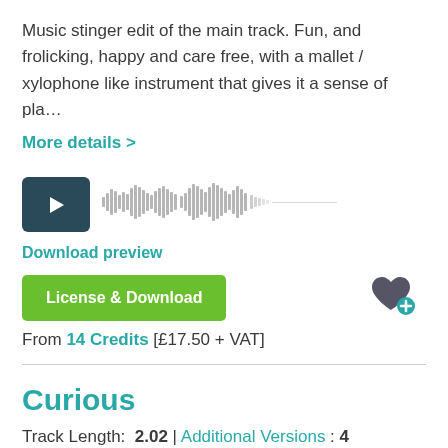Music stinger edit of the main track. Fun, and frolicking, happy and care free, with a mallet / xylophone like instrument that gives it a sense of pla…
More details >
[Figure (other): Audio player with dark teal play button and waveform visualization showing audio amplitude]
Download preview
License & Download
From 14 Credits [£17.50 + VAT]
Curious
Track Length:  2.02 | Additional Versions : 4